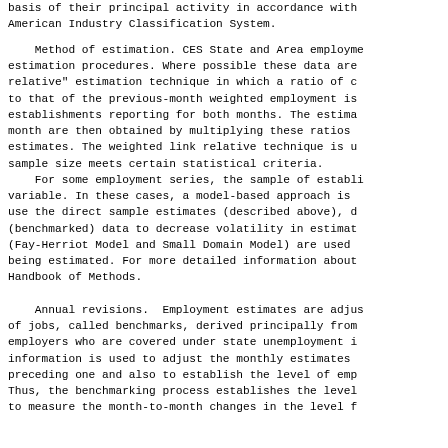basis of their principal activity in accordance with the American Industry Classification System.
Method of estimation. CES State and Area employment estimation procedures. Where possible these data are relative" estimation technique in which a ratio of d to that of the previous-month weighted employment is establishments reporting for both months. The estima month are then obtained by multiplying these ratios estimates. The weighted link relative technique is u sample size meets certain statistical criteria.
For some employment series, the sample of establi variable. In these cases, a model-based approach is use the direct sample estimates (described above), d (benchmarked) data to decrease volatility in estimat (Fay-Herriot Model and Small Domain Model) are used being estimated. For more detailed information about Handbook of Methods.
Annual revisions. Employment estimates are adjus of jobs, called benchmarks, derived principally from employers who are covered under state unemployment i information is used to adjust the monthly estimates preceding one and also to establish the level of emp Thus, the benchmarking process establishes the level to measure the month-to-month changes in the level f